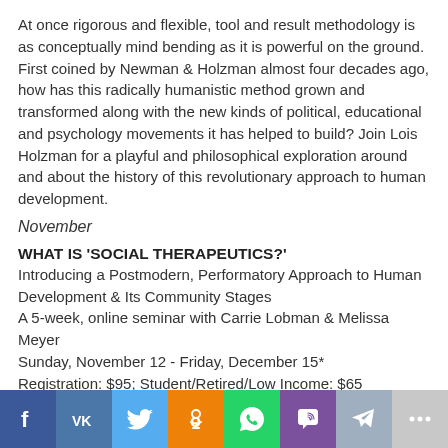At once rigorous and flexible, tool and result methodology is as conceptually mind bending as it is powerful on the ground. First coined by Newman & Holzman almost four decades ago, how has this radically humanistic method grown and transformed along with the new kinds of political, educational and psychology movements it has helped to build? Join Lois Holzman for a playful and philosophical exploration around and about the history of this revolutionary approach to human development.
November
WHAT IS 'SOCIAL THERAPEUTICS?'
Introducing a Postmodern, Performatory Approach to Human Development & Its Community Stages
A 5-week, online seminar with Carrie Lobman & Melissa Meyer
Sunday, November 12 - Friday, December 15*
Registration: $95; Student/Retired/Low Income: $65
*Conversation is asynchronous -- participants are in different time zones and read/post message on their own schedule.
Click here to register